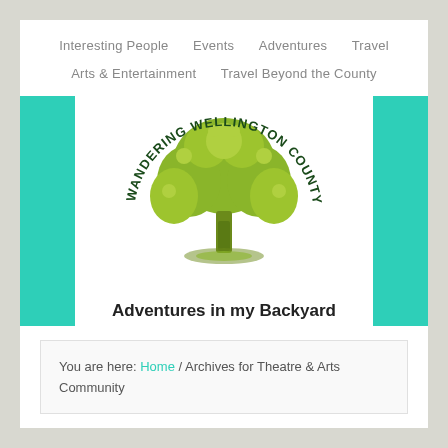Interesting People   Events   Adventures   Travel   Arts & Entertainment   Travel Beyond the County
[Figure (logo): Wandering Wellington County logo: a green oak tree with text arching around it reading 'WANDERING WELLINGTON COUNTY', and tagline 'Adventures in my Backyard' below]
You are here: Home / Archives for Theatre & Arts Community